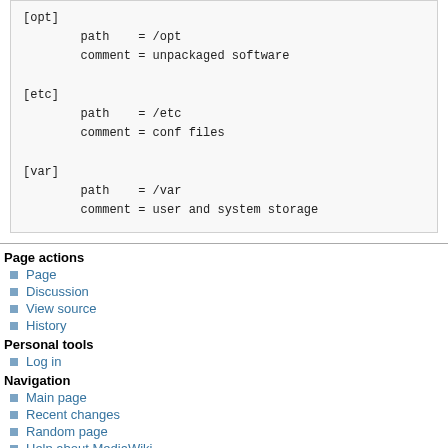[opt]
        path    = /opt
        comment = unpackaged software

[etc]
        path    = /etc
        comment = conf files

[var]
        path    = /var
        comment = user and system storage
Page actions
Page
Discussion
View source
History
Personal tools
Log in
Navigation
Main page
Recent changes
Random page
Help about MediaWiki
Tools
What links here